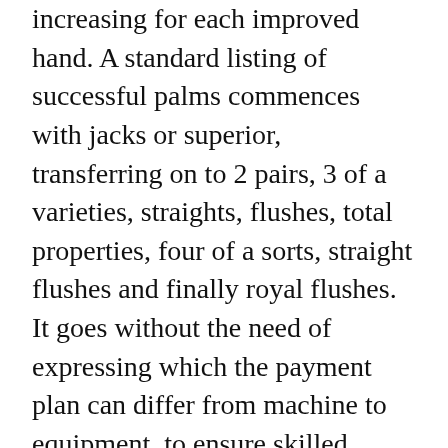increasing for each improved hand. A standard listing of successful palms commences with jacks or superior, transferring on to 2 pairs, 3 of a varieties, straights, flushes, total properties, four of a sorts, straight flushes and finally royal flushes. It goes without the need of expressing which the payment plan can differ from machine to equipment, to ensure skilled gamers are able to select the most financially rewarding kinds every time.
After the Original round has concluded, the participant can both elect to continue MLB축구 to be on in an try to enhance their